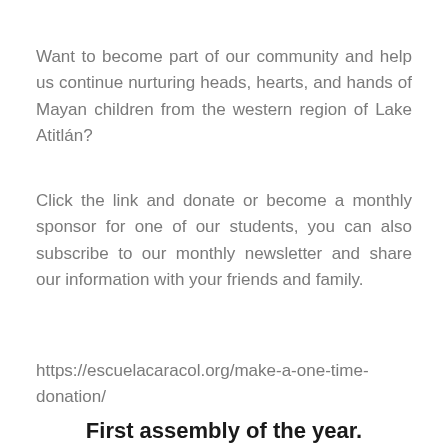Want to become part of our community and help us continue nurturing heads, hearts, and hands of Mayan children from the western region of Lake Atitlán?
Click the link and donate or become a monthly sponsor for one of our students, you can also subscribe to our monthly newsletter and share our information with your friends and family.
https://escuelacaracol.org/make-a-one-time-donation/
First assembly of the year.